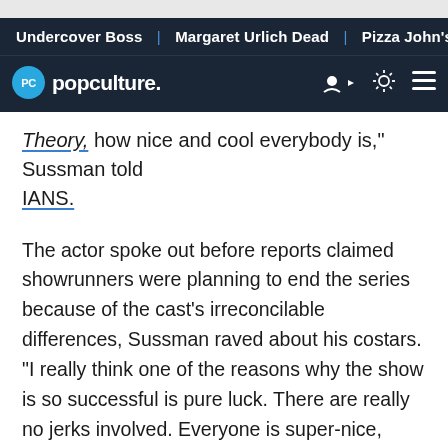Undercover Boss | Margaret Urlich Dead | Pizza John's Recal
PC popculture.
Theory, how nice and cool everybody is," Sussman told IANS.
The actor spoke out before reports claimed showrunners were planning to end the series because of the cast's irreconcilable differences, Sussman raved about his costars. "I really think one of the reasons why the show is so successful is pure luck. There are really no jerks involved. Everyone is super-nice, there is not a lot of ego and stuff," he said.